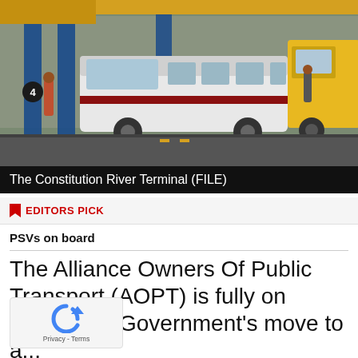[Figure (photo): Busy transit terminal scene with white and yellow minibuses/matatus, blue metal pillars, and passengers. The Constitution River Terminal.]
The Constitution River Terminal (FILE)
EDITORS PICK
PSVs on board
The Alliance Owners Of Public Transport (AOPT) is fully on board with Government’s move to a...
Posted on August 30, 2022